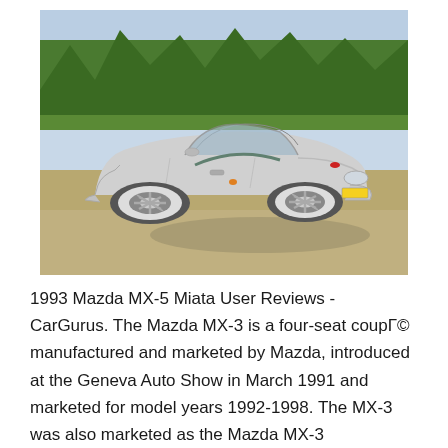[Figure (photo): A silver Mazda MX-5 Miata convertible sports car (first generation, NA) parked on a sandy/gravel area outdoors with trees in the background. The car is shown from a 3/4 front angle, with the soft top retracted. It has five-spoke alloy wheels and a yellow license plate visible at the front.]
1993 Mazda MX-5 Miata User Reviews - CarGurus. The Mazda MX-3 is a four-seat coupГ© manufactured and marketed by Mazda, introduced at the Geneva Auto Show in March 1991 and marketed for model years 1992-1998. The MX-3 was also marketed as the Mazda MX-3